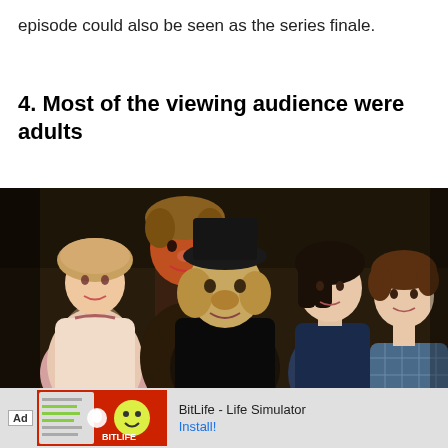episode could also be seen as the series finale.
4. Most of the viewing audience were adults
[Figure (photo): Cast photo showing five characters in period costume and theatrical makeup, likely from a children's TV show. Includes a girl in a bonnet and floral dress, two characters with prosthetic/comedic makeup, and two children.]
Ad  BitLife - Life Simulator  Install!